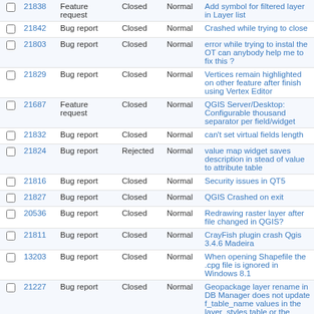|  | # | Type | Status | Priority | Summary |
| --- | --- | --- | --- | --- | --- |
|  | 21838 | Feature request | Closed | Normal | Add symbol for filtered layer in Layer list |
|  | 21842 | Bug report | Closed | Normal | Crashed while trying to close |
|  | 21803 | Bug report | Closed | Normal | error while trying to instal the OT can anybody help me to fix this ? |
|  | 21829 | Bug report | Closed | Normal | Vertices remain highlighted on other feature after finish using Vertex Editor |
|  | 21687 | Feature request | Closed | Normal | QGIS Server/Desktop: Configurable thousand separator per field/widget |
|  | 21832 | Bug report | Closed | Normal | can't set virtual fields length |
|  | 21824 | Bug report | Rejected | Normal | value map widget saves description in stead of value to attribute table |
|  | 21816 | Bug report | Closed | Normal | Security issues in QT5 |
|  | 21827 | Bug report | Closed | Normal | QGIS Crashed on exit |
|  | 20536 | Bug report | Closed | Normal | Redrawing raster layer after file changed in QGIS? |
|  | 21811 | Bug report | Closed | Normal | CrayFish plugin crash Qgis 3.4.6 Madeira |
|  | 13203 | Bug report | Closed | Normal | When opening Shapefile the .cpg file is ignored in Windows 8.1 |
|  | 21227 | Bug report | Closed | Normal | Geopackage layer rename in DB Manager does not update f_table_name values in the layer_styles table or the Triggers |
|  | 21790 | Bug report | Closed | Normal | QGIS 3.4.4 crashes on Save when more than one copy running |
|  | 21785 | Bug report | Closed | Normal | "Delete Selected" icon does not active when vertices are selected |